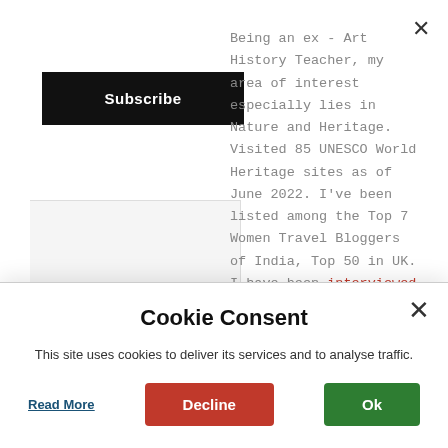[Figure (screenshot): Close/dismiss button (×) at top right of page]
[Figure (screenshot): Subscribe button — black rectangle with white bold text 'Subscribe']
Being an ex - Art History Teacher, my area of interest especially lies in Nature and Heritage. Visited 85 UNESCO World Heritage sites as of June 2022. I've been listed among the Top 7 Women Travel Bloggers of India, Top 50 in UK. I have been interviewed in a couple of
Cookie Consent
This site uses cookies to deliver its services and to analyse traffic.
Read More
Decline
Ok